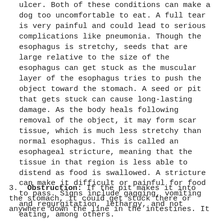ulcer. Both of these conditions can make a dog too uncomfortable to eat. A full tear is very painful and could lead to serious complications like pneumonia. Though the esophagus is stretchy, seeds that are large relative to the size of the esophagus can get stuck as the muscular layer of the esophagus tries to push the object toward the stomach. A seed or pit that gets stuck can cause long-lasting damage. As the body heals following removal of the object, it may form scar tissue, which is much less stretchy than normal esophagus. This is called an esophageal stricture, meaning that the tissue in that region is less able to distend as food is swallowed. A stricture can make it difficult or painful for food to pass. Signs include gagging, vomiting and regurgitation, lethargy, and not eating, among others.
3. Obstruction: If the pit makes it into the stomach, it could get stuck there or anywhere down the line in the intestines. It